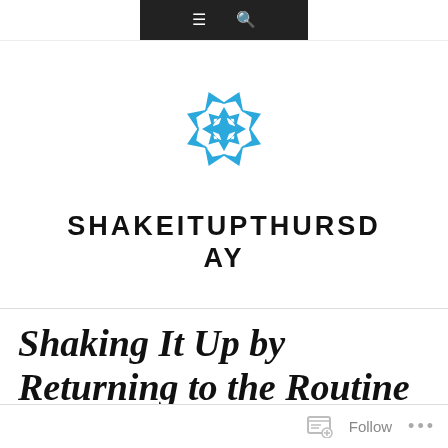Navigation bar with menu and search icons
[Figure (logo): Blue geometric star/diamond logo made of arrow-like shapes arranged in a circular pattern]
SHAKEITUPTHURSDAY
Shaking It Up by Returning to the Routine
Follow   ...